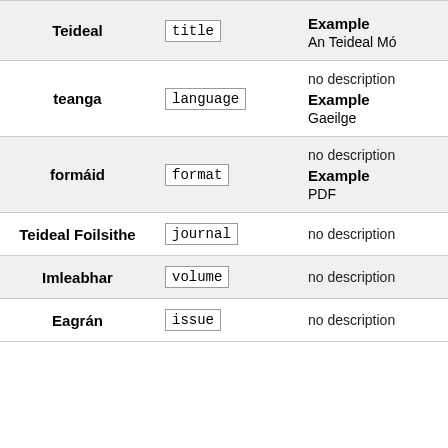| Field | Code | Description |
| --- | --- | --- |
| Teideal | title | Example
An Teideal Mó |
| teanga | language | no description
Example
Gaeilge |
| formáid | format | no description
Example
PDF |
| Teideal Foilsithe | journal | no description |
| Imleabhar | volume | no description |
| Eagrán | issue | no description |